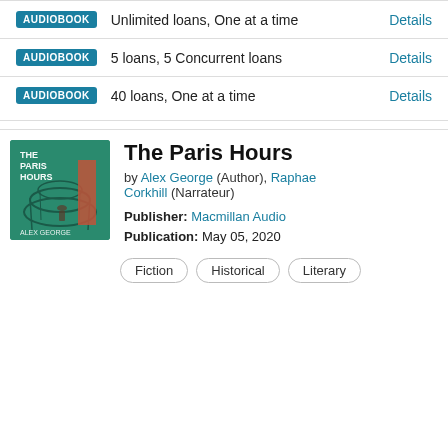AUDIOBOOK  Unlimited loans, One at a time  Details
AUDIOBOOK  5 loans, 5 Concurrent loans  Details
AUDIOBOOK  40 loans, One at a time  Details
The Paris Hours
by Alex George (Author), Raphael Corkhill (Narrateur)
Publisher: Macmillan Audio
Publication: May 05, 2020
Fiction
Historical
Literary